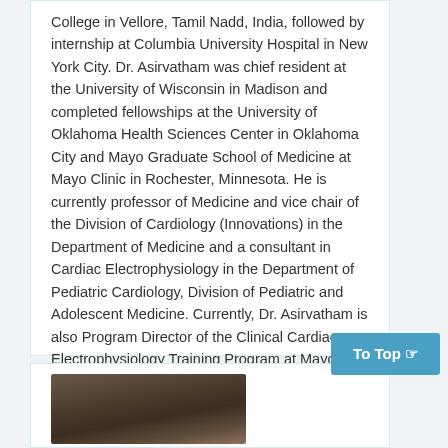College in Vellore, Tamil Nadd, India, followed by internship at Columbia University Hospital in New York City. Dr. Asirvatham was chief resident at the University of Wisconsin in Madison and completed fellowships at the University of Oklahoma Health Sciences Center in Oklahoma City and Mayo Graduate School of Medicine at Mayo Clinic in Rochester, Minnesota. He is currently professor of Medicine and vice chair of the Division of Cardiology (Innovations) in the Department of Medicine and a consultant in Cardiac Electrophysiology in the Department of Pediatric Cardiology, Division of Pediatric and Adolescent Medicine. Currently, Dr. Asirvatham is also Program Director of the Clinical Cardiac Electrophysiology Training Program at Mayo Clinic - Rochester.
[Figure (photo): Portrait photo of a person, partially visible at the bottom of the page]